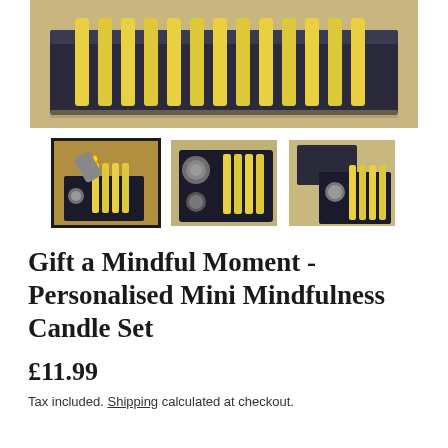[Figure (photo): Main product photo showing yellow taper candles arranged in a dark navy/black box, viewed from above at an angle, on a tan/beige surface.]
[Figure (photo): Thumbnail 1 (selected): Close-up of a lighter igniting one of the yellow candles in the black box, with a small round candle holder visible.]
[Figure (photo): Thumbnail 2: Top-down view of the open black box containing yellow taper candles and two small round holders/tins.]
[Figure (photo): Thumbnail 3: Partially open dark box showing yellow candles and accessories on a beige surface.]
Gift a Mindful Moment - Personalised Mini Mindfulness Candle Set
£11.99
Tax included. Shipping calculated at checkout.